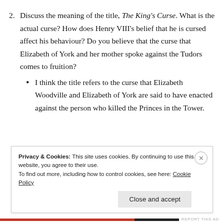2. Discuss the meaning of the title, The King's Curse. What is the actual curse? How does Henry VIII's belief that he is cursed affect his behaviour? Do you believe that the curse that Elizabeth of York and her mother spoke against the Tudors comes to fruition?
I think the title refers to the curse that Elizabeth Woodville and Elizabeth of York are said to have enacted against the person who killed the Princes in the Tower.
Privacy & Cookies: This site uses cookies. By continuing to use this website, you agree to their use. To find out more, including how to control cookies, see here: Cookie Policy